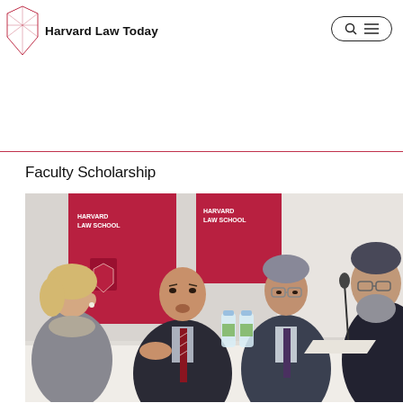Harvard Law Today
Faculty Scholarship
[Figure (photo): Four people seated at a panel table at Harvard Law School. A Harvard Law School red banner is visible in the background. The panelists include a woman with blonde hair on the left, a bald man speaking in the center-left, a man with glasses in the center-right, and an older man with a beard on the far right. Water bottles are on the table.]